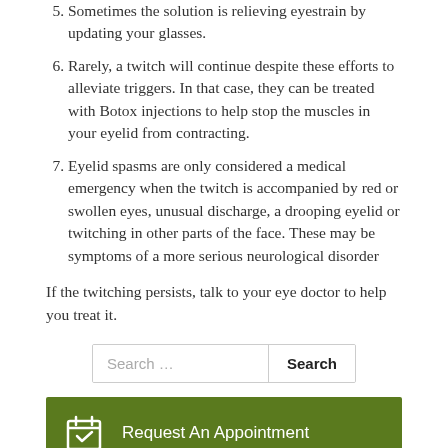Sometimes the solution is relieving eyestrain by updating your glasses.
Rarely, a twitch will continue despite these efforts to alleviate triggers. In that case, they can be treated with Botox injections to help stop the muscles in your eyelid from contracting.
Eyelid spasms are only considered a medical emergency when the twitch is accompanied by red or swollen eyes, unusual discharge, a drooping eyelid or twitching in other parts of the face. These may be symptoms of a more serious neurological disorder
If the twitching persists, talk to your eye doctor to help you treat it.
Search ...
Request An Appointment
Email Us